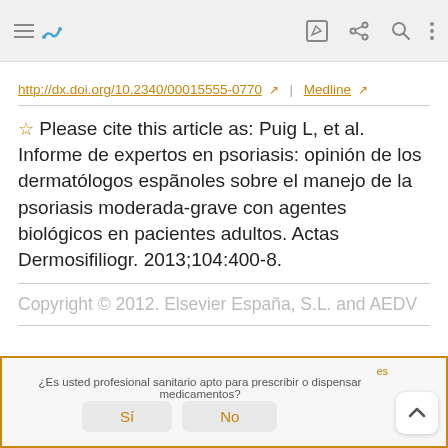[Mobile app toolbar with menu, bookmark, edit, share, search, and more icons]
http://dx.doi.org/10.2340/00015555-0770 ↗ | Medline ↗
☆ Please cite this article as: Puig L, et al. Informe de expertos en psoriasis: opinión de los dermatólogos espãnoles sobre el manejo de la psoriasis moderada-grave con agentes biológicos en pacientes adultos. Actas Dermosifiliogr. 2013;104:400-8.
Copyright © 2012. Elsevier España, S.L. and AEDV
¿Es usted profesional sanitario apto para prescribir o dispensar medicamentos?
Sí   No